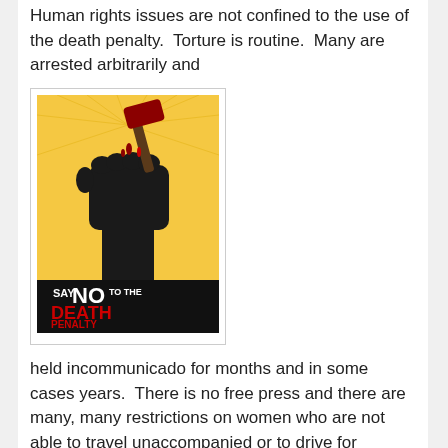Human rights issues are not confined to the use of the death penalty. Torture is routine. Many are arrested arbitrarily and
[Figure (illustration): Anti-death penalty poster showing a fist holding a hammer with the text 'Say NO to the DEATH PENALTY' on a yellow background]
held incommunicado for months and in some cases years. There is no free press and there are many, many restrictions on women who are not able to travel unaccompanied or to drive for example.
The issue of what goes on in Saudi exploded earlier this year surrounding the case of Raif Badawi who was to receive 1000 lashes and fined a million Riyals for the crime of insulting Islam. The case